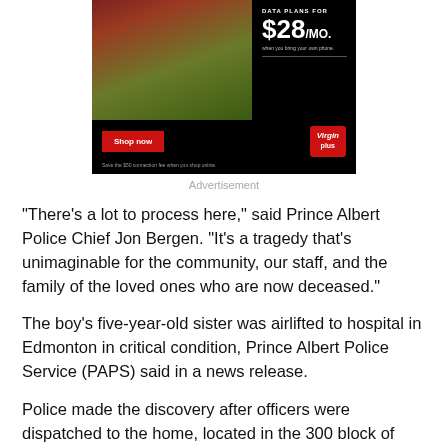[Figure (photo): Virgin Plus advertisement showing a person in red on grass with text 'DATA PLANS FOR $28/MO.' and a Shop now button]
Advertisement
“There’s a lot to process here,” said Prince Albert Police Chief Jon Bergen. “It’s a tragedy that’s unimaginable for the community, our staff, and the family of the loved ones who are now deceased.”
The boy’s five-year-old sister was airlifted to hospital in Edmonton in critical condition, Prince Albert Police Service (PAPS) said in a news release.
Police made the discovery after officers were dispatched to the home, located in the 300 block of MacArthur Drive